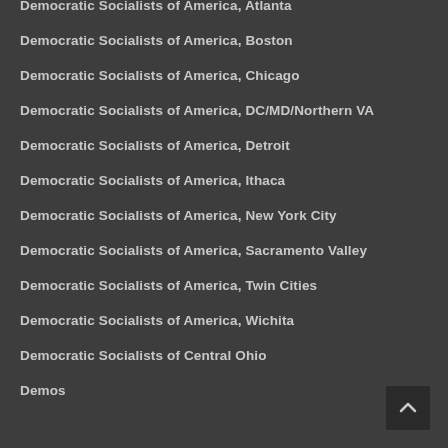Democratic Socialists of America, Atlanta
Democratic Socialists of America, Boston
Democratic Socialists of America, Chicago
Democratic Socialists of America, DC/MD/Northern VA
Democratic Socialists of America, Detroit
Democratic Socialists of America, Ithaca
Democratic Socialists of America, New York City
Democratic Socialists of America, Sacramento Valley
Democratic Socialists of America, Twin Cities
Democratic Socialists of America, Wichita
Democratic Socialists of Central Ohio
Demos